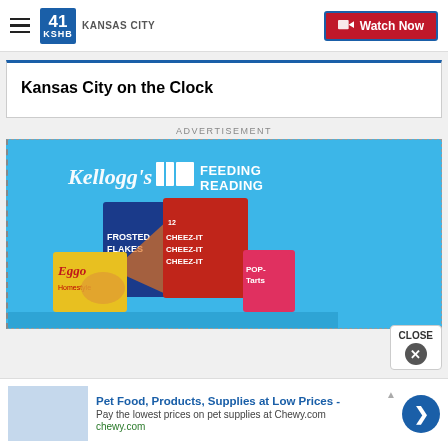41 KSHB KANSAS CITY — Watch Now
Kansas City on the Clock
ADVERTISEMENT
[Figure (photo): Kellogg's Feeding Reading advertisement showing Frosted Flakes, Cheez-It, Eggo, and Pop-Tarts products on a blue background]
[Figure (photo): Bottom banner ad: Pet Food, Products, Supplies at Low Prices - Pay the lowest prices on pet supplies at Chewy.com. chewy.com]